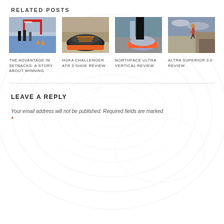RELATED POSTS
[Figure (photo): Runners at a finish line with red arch and cones]
[Figure (photo): Close-up of a running shoe (Hoka) on rocky terrain]
[Figure (photo): Close-up of orange and grey running shoe on rocks]
[Figure (photo): Runner on a cliff edge overlooking desert canyon]
THE ADVANTAGE IN SETBACKS: A STORY ABOUT WINNING
HOKA CHALLENGER ATR 3 SHOE REVIEW
NORTHFACE ULTRA VERTICAL REVIEW
ALTRA SUPERIOR 3.0 REVIEW
LEAVE A REPLY
Your email address will not be published. Required fields are marked *